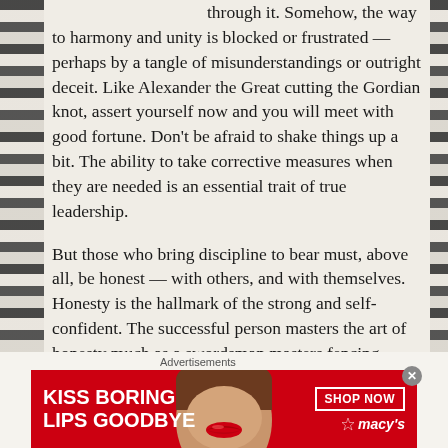through it. Somehow, the way to harmony and unity is blocked or frustrated — perhaps by a tangle of misunderstandings or outright deceit. Like Alexander the Great cutting the Gordian knot, assert yourself now and you will meet with good fortune. Don't be afraid to shake things up a bit. The ability to take corrective measures when they are needed is an essential trait of true leadership.
But those who bring discipline to bear must, above all, be honest — with others, and with themselves. Honesty is the hallmark of the strong and self-confident. The successful person masters the art of honesty much as a swordsman masters fencing. When lies, delusions and game playing are
Advertisements
[Figure (illustration): Macy's advertisement banner with red background showing 'KISS BORING LIPS GOODBYE' text, a woman's face with red lips in the center, and 'SHOP NOW' button with Macy's star logo on the right.]